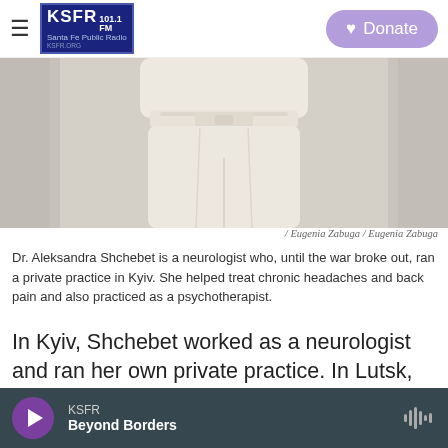KSFR 101.1 FM Santa Fe Public Radio | Donate
[Figure (photo): Photo of a person from torso down, wearing white/cream high-waisted trousers and top, arms crossed at waist, against a light gray background.]
/ Eugenia Zabuga / Eugenia Zabuga
Dr. Aleksandra Shchebet is a neurologist who, until the war broke out, ran a private practice in Kyiv. She helped treat chronic headaches and back pain and also practiced as a psychotherapist.
In Kyiv, Shchebet worked as a neurologist and ran her own private practice. In Lutsk, she wanted to help, so she started offering medical consultations online or over the phone, free of charge. This past
KSFR | Beyond Borders